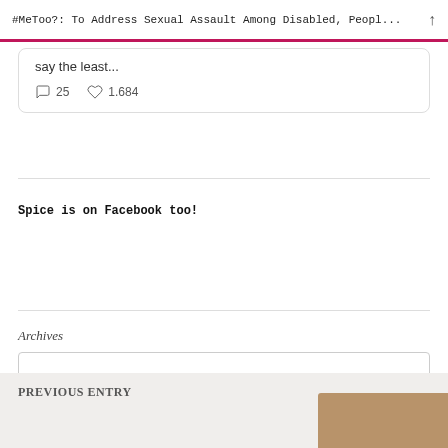#MeToo?: To Address Sexual Assault Among Disabled, Peopl...
say the least...
25  1.684
Spice is on Facebook too!
Archives
Select Month
PREVIOUS ENTRY